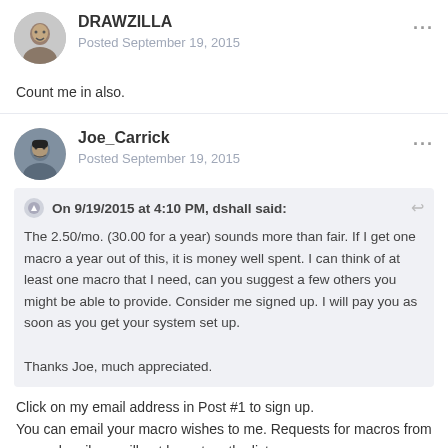DRAWZILLA | Posted September 19, 2015
Count me in also.
Joe_Carrick | Posted September 19, 2015
On 9/19/2015 at 4:10 PM, dshall said:
The 2.50/mo.  (30.00 for a year)  sounds more than fair.  If I get one macro a year out of this,  it is money well spent.  I can think of at least one macro that I need,  can you  suggest a  few others you might be able to provide.  Consider me signed up.  I will pay you as soon as  you get your system set  up.

Thanks Joe,  much appreciated.
Click on my email address in Post #1 to sign up.
You can email your macro wishes to me.  Requests for macros from non-subscribers will not be put on the list.